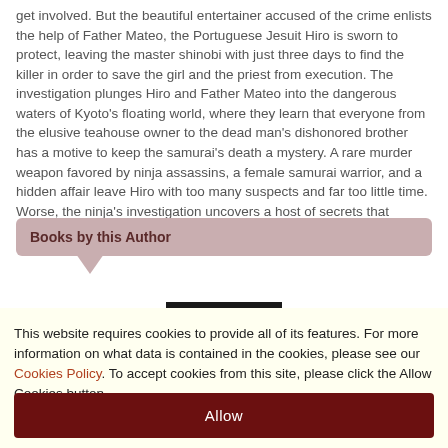get involved. But the beautiful entertainer accused of the crime enlists the help of Father Mateo, the Portuguese Jesuit Hiro is sworn to protect, leaving the master shinobi with just three days to find the killer in order to save the girl and the priest from execution. The investigation plunges Hiro and Father Mateo into the dangerous waters of Kyoto's floating world, where they learn that everyone from the elusive teahouse owner to the dead man's dishonored brother has a motive to keep the samurai's death a mystery. A rare murder weapon favored by ninja assassins, a female samurai warrior, and a hidden affair leave Hiro with too many suspects and far too little time. Worse, the ninja's investigation uncovers a host of secrets that threaten not only Father Mateo and the teahouse, but the ver
Books by this Author
[Figure (other): Book cover with dark background showing the word FIRES in reddish-orange letters]
This website requires cookies to provide all of its features. For more information on what data is contained in the cookies, please see our Cookies Policy. To accept cookies from this site, please click the Allow Cookies button.